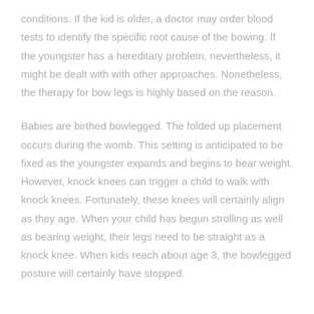conditions. If the kid is older, a doctor may order blood tests to identify the specific root cause of the bowing. If the youngster has a hereditary problem, nevertheless, it might be dealt with with other approaches. Nonetheless, the therapy for bow legs is highly based on the reason.
Babies are birthed bowlegged. The folded up placement occurs during the womb. This setting is anticipated to be fixed as the youngster expands and begins to bear weight. However, knock knees can trigger a child to walk with knock knees. Fortunately, these knees will certainly align as they age. When your child has begun strolling as well as bearing weight, their legs need to be straight as a knock knee. When kids reach about age 3, the bowlegged posture will certainly have stopped.